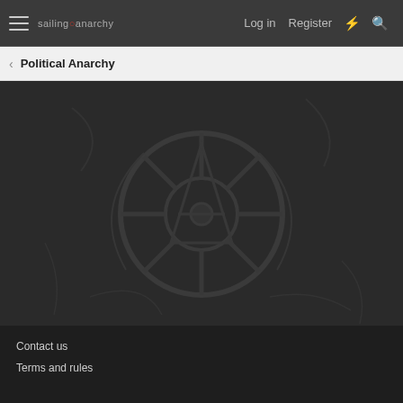sailing anarchy — Log in | Register
Political Anarchy
[Figure (illustration): Dark background with a faint anarchy/pirate wheel symbol watermark in dark grey tones]
Contact us
Terms and rules